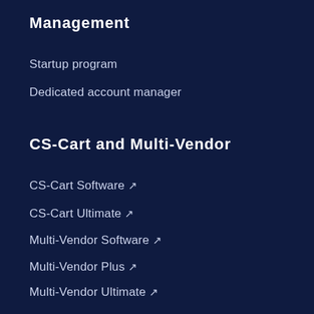Management
Startup program
Dedicated account manager
CS-Cart and Multi-Vendor
CS-Cart Software ↗
CS-Cart Ultimate ↗
Multi-Vendor Software ↗
Multi-Vendor Plus ↗
Multi-Vendor Ultimate ↗
Add-ons and Themes
Add-ons for CS-Cart and Multi-Vendor ↗